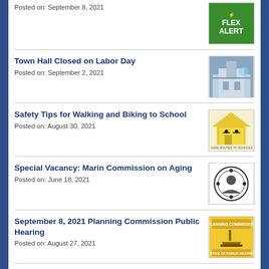Posted on: September 8, 2021
[Figure (logo): Flex Alert green logo with FLEX ALERT text]
Town Hall Closed on Labor Day
Posted on: September 2, 2021
[Figure (photo): Photo of Town Hall building]
Safety Tips for Walking and Biking to School
Posted on: August 30, 2021
[Figure (logo): Safe Routes to Schools Marin County logo with yellow house and cyclists]
Special Vacancy: Marin Commission on Aging
Posted on: June 18, 2021
[Figure (logo): Marin Commission on Aging circular seal logo]
September 8, 2021 Planning Commission Public Hearing
Posted on: August 27, 2021
[Figure (logo): Planning Commission Notice of Public Hearing logo with gavel on yellow background]
Tiburon Police: Living and Growing Together Series